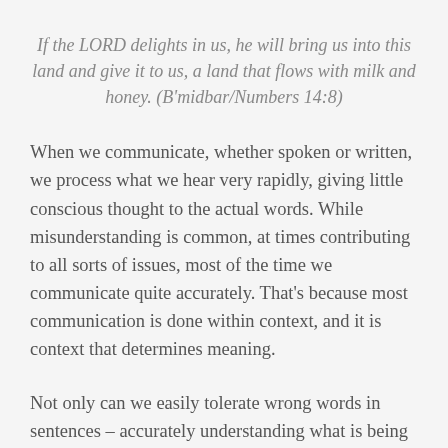If the LORD delights in us, he will bring us into this land and give it to us, a land that flows with milk and honey. (B'midbar/Numbers 14:8)
When we communicate, whether spoken or written, we process what we hear very rapidly, giving little conscious thought to the actual words. While misunderstanding is common, at times contributing to all sorts of issues, most of the time we communicate quite accurately. That's because most communication is done within context, and it is context that determines meaning.
Not only can we easily tolerate wrong words in sentences – accurately understanding what is being